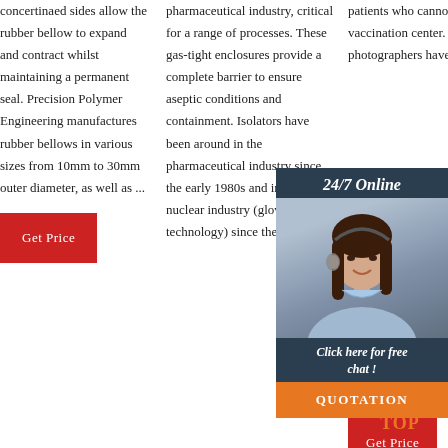concertinaed sides allow the rubber bellow to expand and contract whilst maintaining a permanent seal. Precision Polymer Engineering manufactures rubber bellows in various sizes from 10mm to 30mm outer diameter, as well as ...
pharmaceutical industry, critical for a range of processes. These gas-tight enclosures provide a complete barrier to ensure aseptic conditions and containment. Isolators have been around in the pharmaceutical industry since the early 1980s and in the nuclear industry (glovebox technology) since the 1950s.
patients who cannot get to the vaccination center. Our photographers have staged ... truck g... differe... NEOP... Time t... the be... Starlin... and Ci...
[Figure (photo): Customer service representative woman with headset, overlaid with 24/7 Online chat widget showing chat link and quotation button]
Get Price
Get Price
TOP